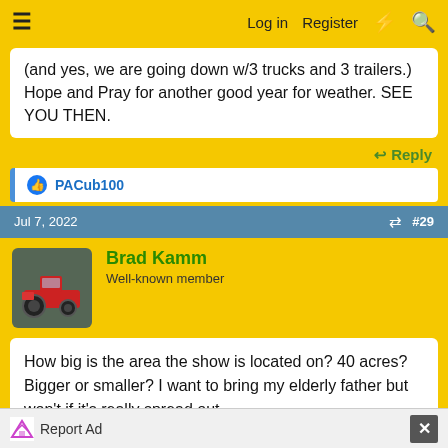≡  Log in  Register  ⚡  🔍
(and yes, we are going down w/3 trucks and 3 trailers.) Hope and Pray for another good year for weather. SEE YOU THEN.
↩ Reply
👍 PACub100
Jul 7, 2022  🔗  #29
Brad Kamm
Well-known member
How big is the area the show is located on? 40 acres? Bigger or smaller? I want to bring my elderly father but won't if it's really spread out.
Report Ad  ✕